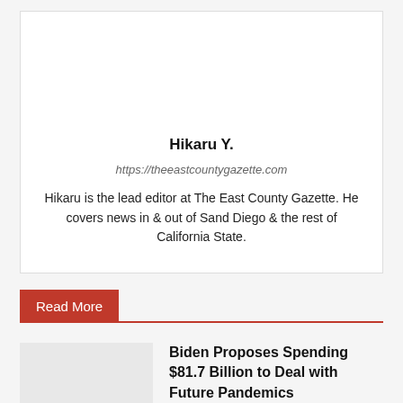Hikaru Y.
https://theeastcountygazette.com
Hikaru is the lead editor at The East County Gazette. He covers news in & out of Sand Diego & the rest of California State.
Read More
Biden Proposes Spending $81.7 Billion to Deal with Future Pandemics
March 29, 2022